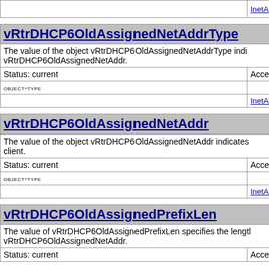|  | InetAddressPrefixLength |
vRtrDHCP6OldAssignedNetAddrType
The value of the object vRtrDHCP6OldAssignedNetAddrType indicates the address type of vRtrDHCP6OldAssignedNetAddr.
| Status: current | Access: accessible |
| OBJECT-TYPE |  |
|  | InetAddressType |
vRtrDHCP6OldAssignedNetAddr
The value of the object vRtrDHCP6OldAssignedNetAddr indicates the network address assigned to the DHCP client.
| Status: current | Access: accessible |
| OBJECT-TYPE |  |
|  | InetAddress |
vRtrDHCP6OldAssignedPrefixLen
The value of vRtrDHCP6OldAssignedPrefixLen specifies the length of the prefix of vRtrDHCP6OldAssignedNetAddr.
| Status: current | Access: accessible |